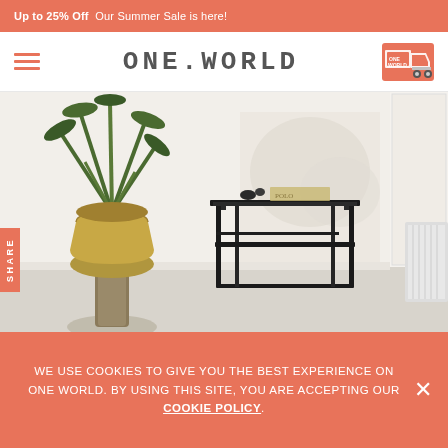Up to 25% Off  Our Summer Sale is here!
ONE.WORLD
[Figure (photo): A black metal side table with a glass or dark top, displayed in a rustic white room with peeling paint walls and a potted palm plant in a metallic pot to the left. A 'Share' tab appears on the left edge.]
WE USE COOKIES TO GIVE YOU THE BEST EXPERIENCE ON ONE WORLD. BY USING THIS SITE, YOU ARE ACCEPTING OUR COOKIE POLICY.